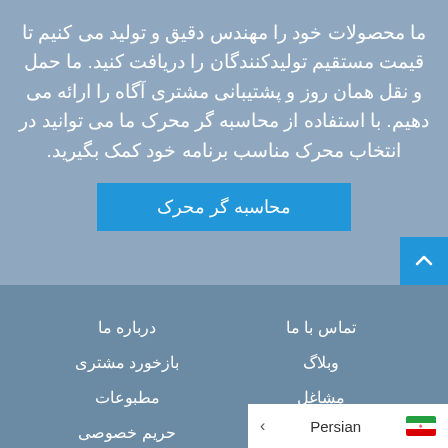ما محصولات خود را مهندس دقیق و تولید می کنیم تا قیمت مستقیم تولیدکنندگان را دریافت کنید. ما حمل و نقل همان روز و پشتیبانی مشتری آگاه را ارائه می دهیم. با استفاده از محاسبه گر محرک ما می توانید در انتخاب محرک مناسب برنامه خود کمک بگیرید.
محاسبه گر محرک
تماس با ما
درباره ما
وبلاگ
بازخورد مشتری
مشاغل
مطبوعات
حریم خصوصی
Persian